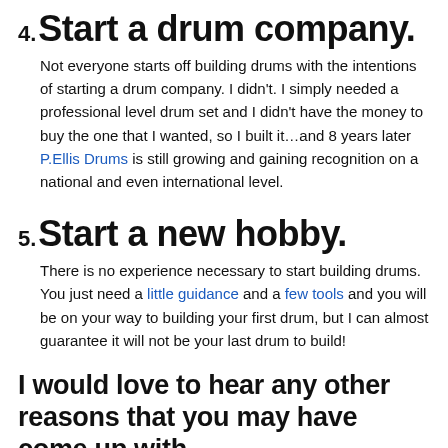4. Start a drum company.
Not everyone starts off building drums with the intentions of starting a drum company. I didn't. I simply needed a professional level drum set and I didn't have the money to buy the one that I wanted, so I built it…and 8 years later P.Ellis Drums is still growing and gaining recognition on a national and even international level.
5. Start a new hobby.
There is no experience necessary to start building drums. You just need a little guidance and a few tools and you will be on your way to building your first drum, but I can almost guarantee it will not be your last drum to build!
I would love to hear any other reasons that you may have come up with. Please leave a comment to share!